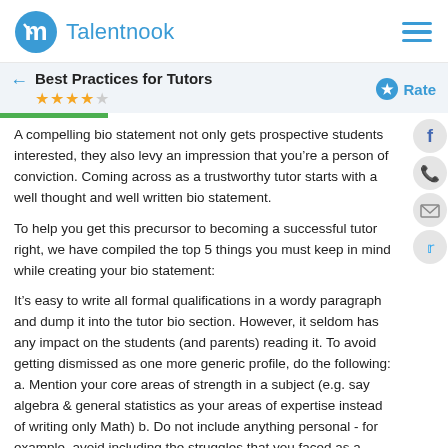Talentnook
Best Practices for Tutors
A compelling bio statement not only gets prospective students interested, they also levy an impression that you're a person of conviction. Coming across as a trustworthy tutor starts with a well thought and well written bio statement.
To help you get this precursor to becoming a successful tutor right, we have compiled the top 5 things you must keep in mind while creating your bio statement:
It's easy to write all formal qualifications in a wordy paragraph and dump it into the tutor bio section. However, it seldom has any impact on the students (and parents) reading it. To avoid getting dismissed as one more generic profile, do the following: a. Mention your core areas of strength in a subject (e.g. say algebra & general statistics as your areas of expertise instead of writing only Math) b. Do not include anything personal - for example, avoid including the struggles that you faced as a